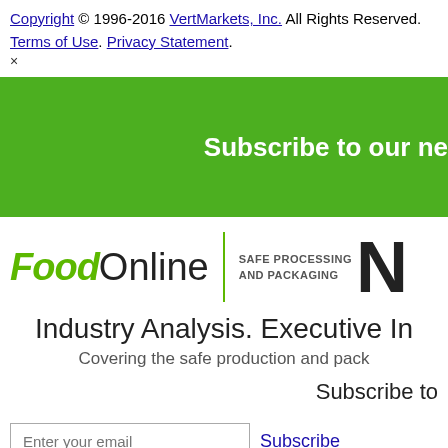Copyright © 1996-2016 VertMarkets, Inc. All Rights Reserved. Terms of Use. Privacy Statement.
×
[Figure (other): Green banner with text 'Subscribe to our ne...']
[Figure (logo): FoodOnline logo with tagline SAFE PROCESSING AND PACKAGING and large N]
Industry Analysis. Executive In...
Covering the safe production and pack...
Subscribe too...
Enter your email  Subscribe